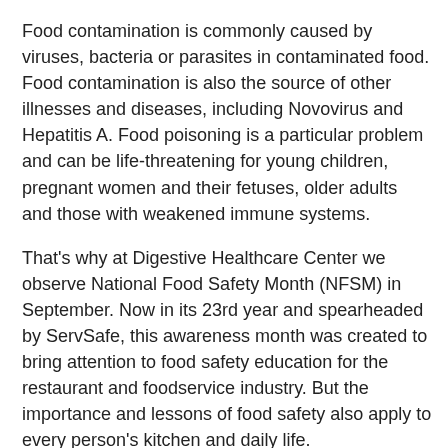Food contamination is commonly caused by viruses, bacteria or parasites in contaminated food. Food contamination is also the source of other illnesses and diseases, including Novovirus and Hepatitis A. Food poisoning is a particular problem and can be life-threatening for young children, pregnant women and their fetuses, older adults and those with weakened immune systems.
That's why at Digestive Healthcare Center we observe National Food Safety Month (NFSM) in September. Now in its 23rd year and spearheaded by ServSafe, this awareness month was created to bring attention to food safety education for the restaurant and foodservice industry. But the importance and lessons of food safety also apply to every person's kitchen and daily life.
Here are some tips to avoid food contamination to keep you and others safe and healthy.